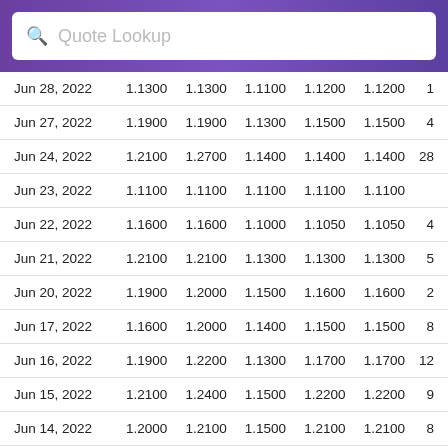Quote Lookup
| Date | Open | High | Low | Close | Adj Close | Volume |
| --- | --- | --- | --- | --- | --- | --- |
| Jun 28, 2022 | 1.1300 | 1.1300 | 1.1100 | 1.1200 | 1.1200 | 1 |
| Jun 27, 2022 | 1.1900 | 1.1900 | 1.1300 | 1.1500 | 1.1500 | 4 |
| Jun 24, 2022 | 1.2100 | 1.2700 | 1.1400 | 1.1400 | 1.1400 | 28 |
| Jun 23, 2022 | 1.1100 | 1.1100 | 1.1100 | 1.1100 | 1.1100 |  |
| Jun 22, 2022 | 1.1600 | 1.1600 | 1.1000 | 1.1050 | 1.1050 | 4 |
| Jun 21, 2022 | 1.2100 | 1.2100 | 1.1300 | 1.1300 | 1.1300 | 5 |
| Jun 20, 2022 | 1.1900 | 1.2000 | 1.1500 | 1.1600 | 1.1600 | 2 |
| Jun 17, 2022 | 1.1600 | 1.2000 | 1.1400 | 1.1500 | 1.1500 | 8 |
| Jun 16, 2022 | 1.1900 | 1.2200 | 1.1300 | 1.1700 | 1.1700 | 12 |
| Jun 15, 2022 | 1.2100 | 1.2400 | 1.1500 | 1.2200 | 1.2200 | 9 |
| Jun 14, 2022 | 1.2000 | 1.2100 | 1.1500 | 1.2100 | 1.2100 | 8 |